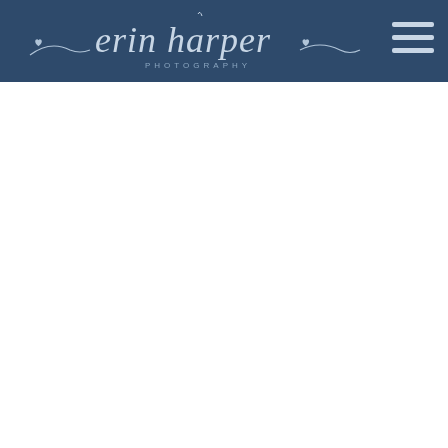erin harper PHOTOGRAPHY
[Figure (logo): Erin Harper Photography logo in script/cursive lettering on dark navy blue header background, with decorative flourishes and small heart details. The word PHOTOGRAPHY appears in spaced capital letters below the script text.]